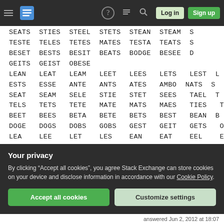Stack Exchange navigation bar with hamburger menu, logo, help, chat, search icons, Log in and Sign up buttons
SEATS STIES STEEL STETS STEAN STEAM S
TESTE TELES TETES MATES TESTA TEATS S
BESET BESTS BESIT BEATS BODGE BESEE D
GEITS GEIST OBESE
LEAN LEAT LEAM LEET LEES LETS LEST L
ESTS ESSE ANTE ANTS ATES AMBO NATS S
SEAT SEAM SELE STIE STET SEES TAEL T
TELS TETS TETE MATE MATS MAES TIES T
BEET BEES BETA BETE BETS BEST BEAN B
DOGE DOGS DOBS GOBS GEST GEIT GETS O
LEA LEE LET LES EAN EAT EEL ELS ETA
SEE SET SEA SEL TAN TAE TAM TEE TES
TIE TIS TEG SEG SEI SIT BEE BET BEL
GOD GOB GET OBS OBE
EA EE EL ET ES AN AT AE AM NA ST
Your privacy
By clicking "Accept all cookies", you agree Stack Exchange can store cookies on your device and disclose information in accordance with our Cookie Policy.
Accept all cookies   Customize settings
answered Jun 2, 2012 at 18:07